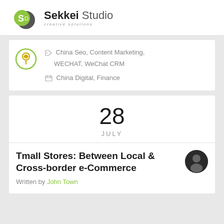[Figure (logo): Sekkei Studio creative solutions logo with green droplet/S icon]
China Seo, Content Marketing, WECHAT, WeChat CRM
China Digital, Finance
28 JULY
Tmall Stores: Between Local & Cross-border e-Commerce
Written by John Town